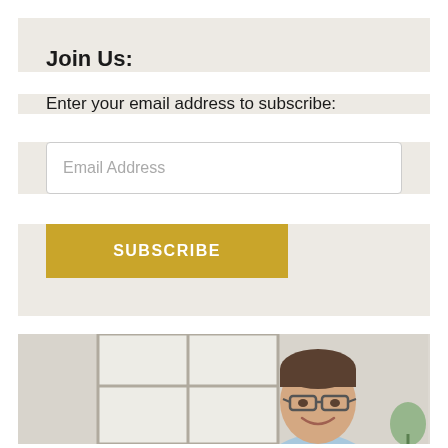Join Us:
Enter your email address to subscribe:
Email Address
SUBSCRIBE
[Figure (photo): A smiling man with glasses in a bright office or home environment, cropped view showing face and upper torso, bright window in background]